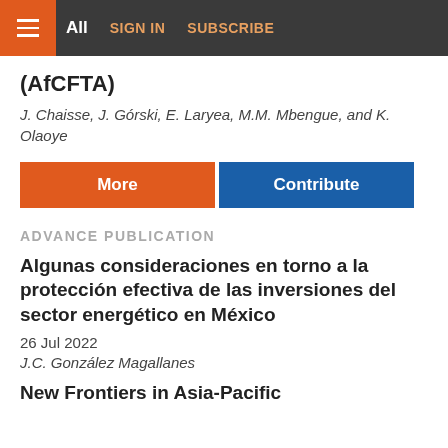All | SIGN IN | SUBSCRIBE
(AfCFTA)
J. Chaisse, J. Górski, E. Laryea, M.M. Mbengue, and K. Olaoye
More | Contribute
ADVANCE PUBLICATION
Algunas consideraciones en torno a la protección efectiva de las inversiones del sector energético en México
26 Jul 2022
J.C. González Magallanes
New Frontiers in Asia-Pacific